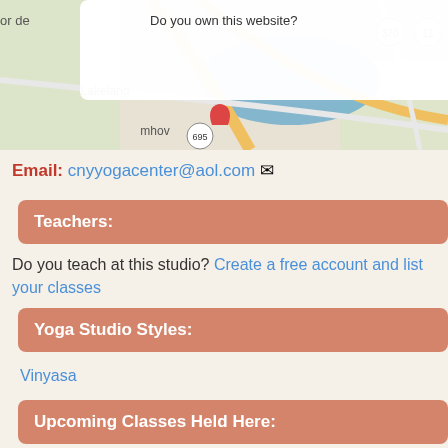[Figure (map): Google Maps showing area around New York State Fairgrounds, Lakeland, Galeville, CNY Regional Mall, Northside, with road network and blue water body visible. A dialog box overlay shows 'Do you own this website?' with an OK button.]
Email: cnyyogacenter@aol.com
Teachers:
Do you teach at this studio? Create a free account and list your classes
Yoga Studio Styles:
Vinyasa
Upcoming Classes Held Here: